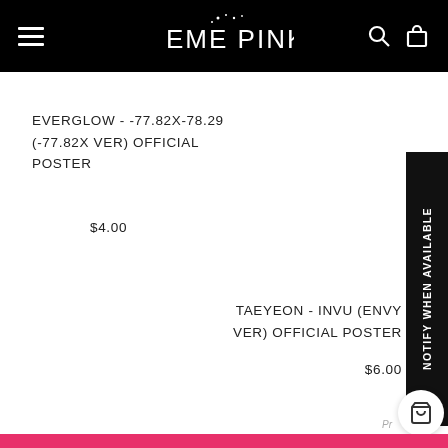EME PINK
EVERGLOW - -77.82X-78.29 (-77.82X VER) OFFICIAL POSTER
$4.00
TAEYEON - INVU (ENVY VER) OFFICIAL POSTER
$6.00